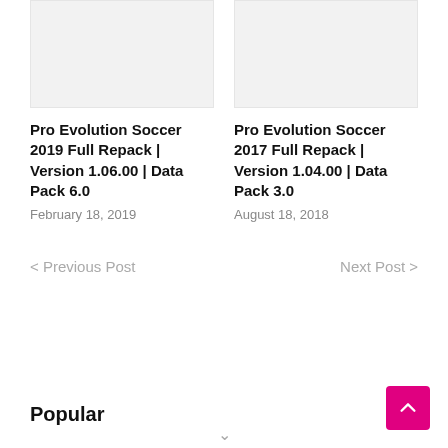[Figure (photo): Placeholder image for Pro Evolution Soccer 2019 Full Repack article]
[Figure (photo): Placeholder image for Pro Evolution Soccer 2017 Full Repack article]
Pro Evolution Soccer 2019 Full Repack | Version 1.06.00 | Data Pack 6.0
February 18, 2019
Pro Evolution Soccer 2017 Full Repack | Version 1.04.00 | Data Pack 3.0
August 18, 2018
< Previous Post
Next Post >
Popular